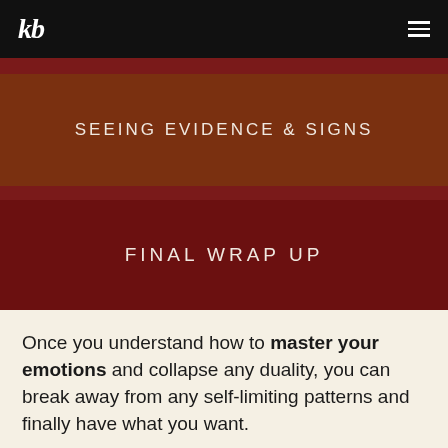kb
SEEING EVIDENCE & SIGNS
FINAL WRAP UP
Once you understand how to master your emotions and collapse any duality, you can break away from any self-limiting patterns and finally have what you want.